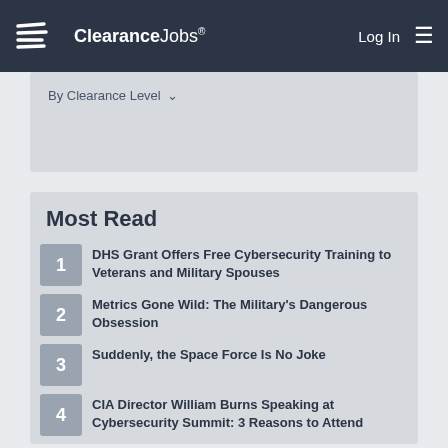ClearanceJobs® Log In ☰
By Clearance Level ∨
Most Read
1 DHS Grant Offers Free Cybersecurity Training to Veterans and Military Spouses
2 Metrics Gone Wild: The Military's Dangerous Obsession
3 Suddenly, the Space Force Is No Joke
4 CIA Director William Burns Speaking at Cybersecurity Summit: 3 Reasons to Attend